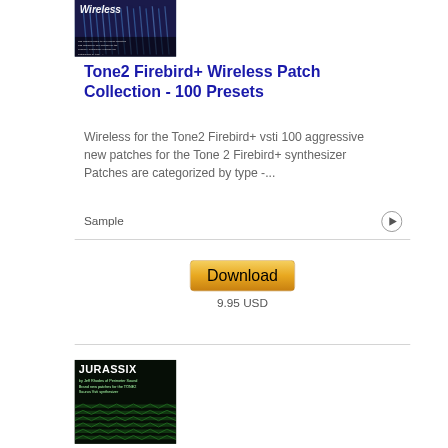[Figure (photo): Book cover for Tone2 Firebird+ Wireless Patch Collection showing the word 'Wireless' in italic white text on a dark blue background with abstract lines]
Tone2 Firebird+ Wireless Patch Collection - 100 Presets
Wireless for the Tone2 Firebird+ vsti 100 aggressive new patches for the Tone 2 Firebird+ synthesizer Patches are categorized by type -...
Sample
Download
9.95 USD
[Figure (photo): Book cover for JURASSIX by Jeff Rhodes of Perimeter Sound, brand new patches for the TONE2 Saurus Vsti synthesizer, dark green background with geometric pattern]